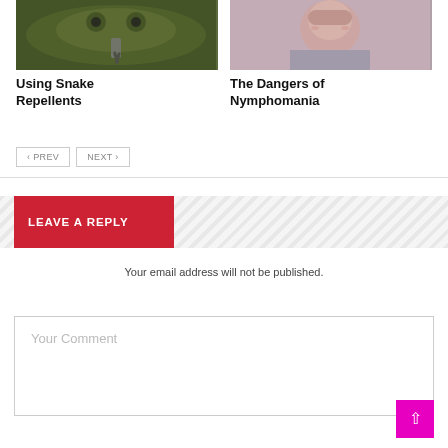[Figure (photo): Close-up photo of a snake's face with visible tongue, greenish-brown scales]
Using Snake Repellents
[Figure (photo): Photo of a woman lying down, appearing relaxed or sleeping, purple/pink toned]
The Dangers of Nymphomania
< PREV   NEXT >
LEAVE A REPLY
Your email address will not be published.
Your Comment